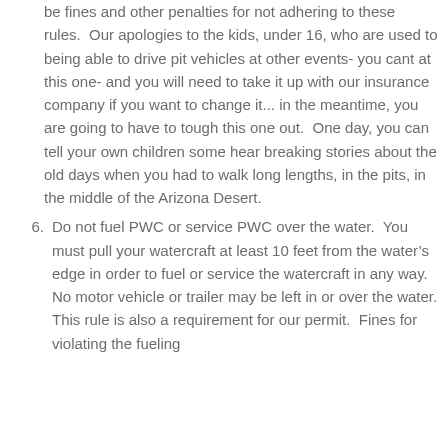be fines and other penalties for not adhering to these rules.  Our apologies to the kids, under 16, who are used to being able to drive pit vehicles at other events- you cant at this one- and you will need to take it up with our insurance company if you want to change it... in the meantime, you are going to have to tough this one out.  One day, you can tell your own children some hear breaking stories about the old days when you had to walk long lengths, in the pits, in the middle of the Arizona Desert.
Do not fuel PWC or service PWC over the water.  You must pull your watercraft at least 10 feet from the water’s edge in order to fuel or service the watercraft in any way.   No motor vehicle or trailer may be left in or over the water. This rule is also a requirement for our permit.  Fines for violating the fueling